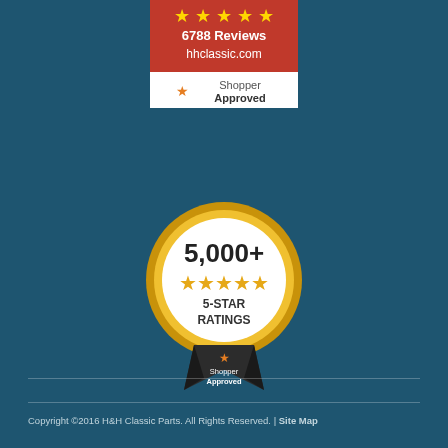[Figure (logo): Shopper Approved badge showing 6788 Reviews for hhclassic.com with star rating and white background]
[Figure (logo): Gold medal badge showing 5,000+ five-star ratings with Shopper Approved ribbon at bottom]
[Figure (logo): WSMSSL Comodo Secure Site badge with silver sunburst design]
Copyright ©2016 H&H Classic Parts. All Rights Reserved. | Site Map